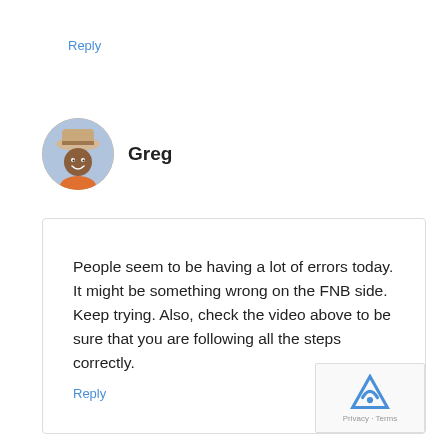Reply
Greg
People seem to be having a lot of errors today. It might be something wrong on the FNB side. Keep trying. Also, check the video above to be sure that you are following all the steps correctly.
Reply